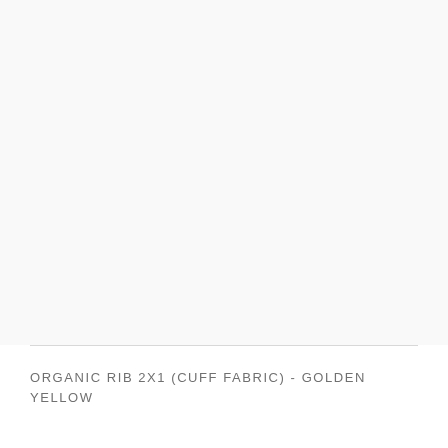[Figure (photo): A nearly blank/white product image area showing fabric swatch for Organic Rib 2x1 cuff fabric in golden yellow color — appears mostly white/light due to image rendering]
ORGANIC RIB 2X1 (CUFF FABRIC) - GOLDEN YELLOW